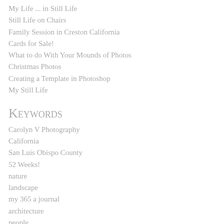My Life ... in Still Life
Still Life on Chairs
Family Session in Creston California
Cards for Sale!
What to do With Your Mounds of Photos
Christmas Photos
Creating a Template in Photoshop
My Still Life
Keywords
Carolyn V Photography
California
San Luis Obispo County
52 Weeks!
nature
landscape
my 365 a journal
architecture
people
Carolyn V